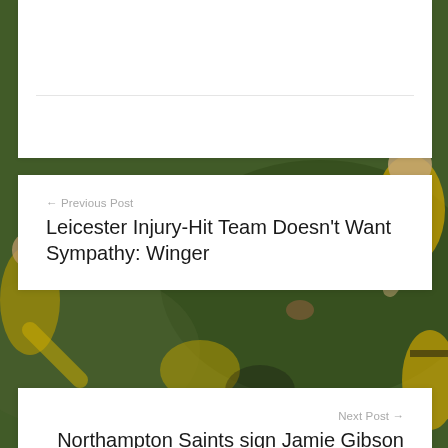[Figure (photo): Sports photo background showing rugby players in yellow and black jerseys on a green field]
← Previous Post
Leicester Injury-Hit Team Doesn't Want Sympathy: Winger
Next Post →
Northampton Saints sign Jamie Gibson from Leicester Tigers
Recent Posts